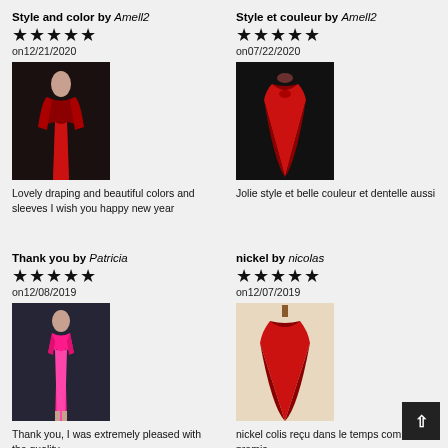Style and color by Amell2 ★★★★★ on12/21/2020
[Figure (photo): Model wearing a red knee-length dress on a runway, dark background]
Lovely draping and beautiful colors and sleeves I wish you happy new year
Style et couleur by Amell2 ★★★★★ on07/22/2020
[Figure (photo): Red floor-length formal gown displayed on hanger, dark background]
Jolie style et belle couleur et dentelle aussi
Thank you by Patricia ★★★★★ on12/08/2019
[Figure (photo): Woman in hot pink short dress against dark wall background]
Thank you, I was extremely pleased with the quality
nickel by nicolas ★★★★★ on12/07/2019
[Figure (photo): Red floor-length off-shoulder gown on light background]
nickel colis reçu dans le temps comme promis